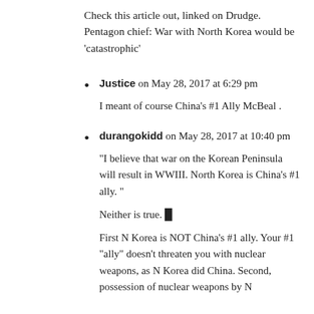Check this article out, linked on Drudge. Pentagon chief: War with North Korea would be 'catastrophic'
Justice on May 28, 2017 at 6:29 pm — I meant of course China's #1 Ally McBeal .
durangokidd on May 28, 2017 at 10:40 pm — "I believe that war on the Korean Peninsula will result in WWIII. North Korea is China's #1 ally. " Neither is true. First N Korea is NOT China's #1 ally. Your #1 "ally" doesn't threaten you with nuclear weapons, as N Korea did China. Second, possession of nuclear weapons by N